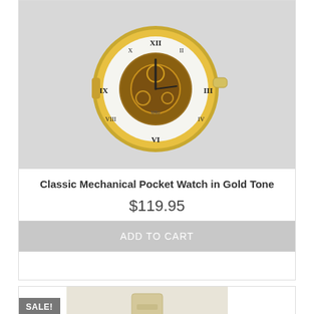[Figure (photo): Gold tone classic mechanical pocket watch open face showing Roman numerals and skeleton movement]
Classic Mechanical Pocket Watch in Gold Tone
$119.95
ADD TO CART
SALE!
[Figure (photo): Cream/beige colored watch with leather strap, partially visible]